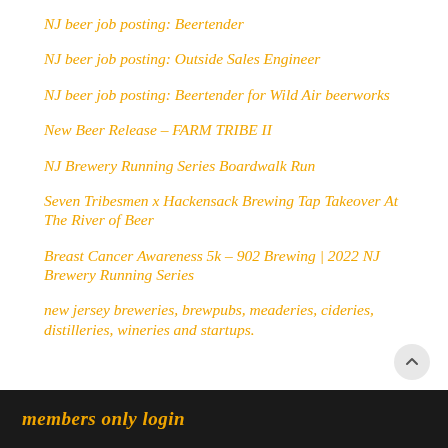NJ beer job posting: Beertender
NJ beer job posting: Outside Sales Engineer
NJ beer job posting: Beertender for Wild Air beerworks
New Beer Release – FARM TRIBE II
NJ Brewery Running Series Boardwalk Run
Seven Tribesmen x Hackensack Brewing Tap Takeover At The River of Beer
Breast Cancer Awareness 5k – 902 Brewing | 2022 NJ Brewery Running Series
new jersey breweries, brewpubs, meaderies, cideries, distilleries, wineries and startups.
members only login